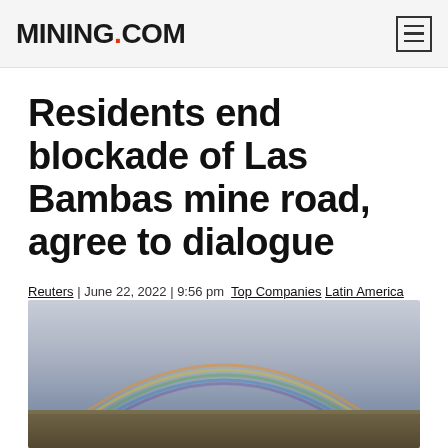MINING.COM
Residents end blockade of Las Bambas mine road, agree to dialogue
Reuters | June 22, 2022 | 9:56 pm  Top Companies  Latin America  Copper
[Figure (photo): Landscape photo with a rainbow arching over a cloudy sky and arid terrain, likely from the Las Bambas mine area in Peru.]